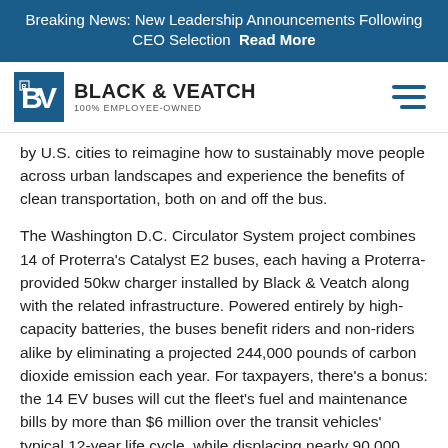Breaking News: New Leadership Announcements Following CEO Selection  Read More
[Figure (logo): Black & Veatch logo — BV icon in blue square, company name BLACK & VEATCH, tagline 100% EMPLOYEE-OWNED]
by U.S. cities to reimagine how to sustainably move people across urban landscapes and experience the benefits of clean transportation, both on and off the bus.
The Washington D.C. Circulator System project combines 14 of Proterra's Catalyst E2 buses, each having a Proterra-provided 50kw charger installed by Black & Veatch along with the related infrastructure. Powered entirely by high-capacity batteries, the buses benefit riders and non-riders alike by eliminating a projected 244,000 pounds of carbon dioxide emission each year. For taxpayers, there's a bonus: the 14 EV buses will cut the fleet's fuel and maintenance bills by more than $6 million over the transit vehicles' typical 12-year life cycle, while displacing nearly 90,000 gallons of diesel fuel annually.